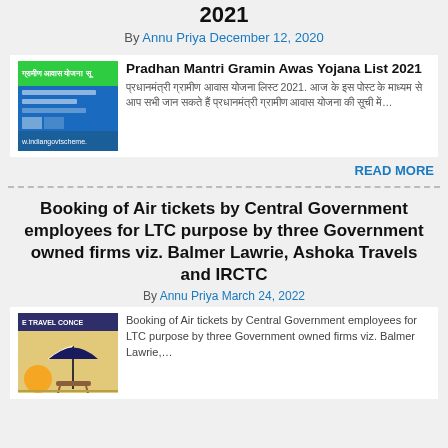2021
By Annu Priya December 12, 2020
[Figure (screenshot): Thumbnail image showing Pradhan Mantri Gramin Awas Yojana List with green and blue header and website indiangovtscheme]
Pradhan Mantri Gramin Awas Yojana List 2021
प्रधानमंत्री ग्रामीण आवास योजना लिस्ट 2021.  आज के इस पोस्ट के माध्यम से आप सभी जान सकते हैं प्रधानमंत्री ग्रामीण आवास योजना की सूची में…
READ MORE
Booking of Air tickets by Central Government employees for LTC purpose by three Government owned firms viz. Balmer Lawrie, Ashoka Travels and IRCTC
By Annu Priya March 24, 2022
[Figure (photo): Thumbnail image with travel concession text at top, beach scene with umbrella, sun and chairs]
Booking of Air tickets by Central Government employees for LTC purpose by three Government owned firms viz. Balmer Lawrie,…